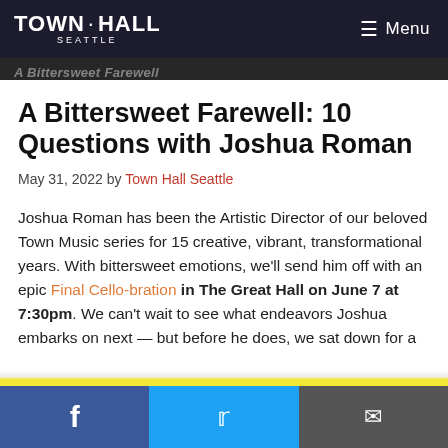TOWN·HALL SEATTLE   Menu
A Bittersweet Farewell: 10 Questions with Joshua Roman
A Bittersweet Farewell: 10 Questions with Joshua Roman
May 31, 2022 by Town Hall Seattle
Joshua Roman has been the Artistic Director of our beloved Town Music series for 15 creative, vibrant, transformational years. With bittersweet emotions, we'll send him off with an epic Final Cello-bration in The Great Hall on June 7 at 7:30pm. We can't wait to see what endeavors Joshua embarks on next — but before he does, we sat down for a